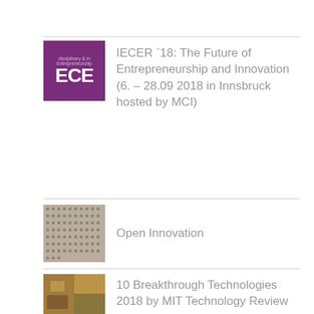IECER '18: The Future of Entrepreneurship and Innovation (6. – 28.09 2018 in Innsbruck hosted by MCI)
Open Innovation
10 Breakthrough Technologies 2018 by MIT Technology Review
Innovation Trends 2018
Profit